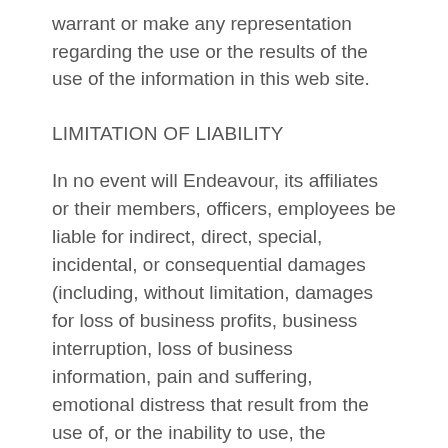warrant or make any representation regarding the use or the results of the use of the information in this web site.
LIMITATION OF LIABILITY
In no event will Endeavour, its affiliates or their members, officers, employees be liable for indirect, direct, special, incidental, or consequential damages (including, without limitation, damages for loss of business profits, business interruption, loss of business information, pain and suffering, emotional distress that result from the use of, or the inability to use, the materials in this web site, or other pecuniary loss) arising directly or indirectly from the use of (or failure to use) or reliance on the information contained within or as a result of the site...